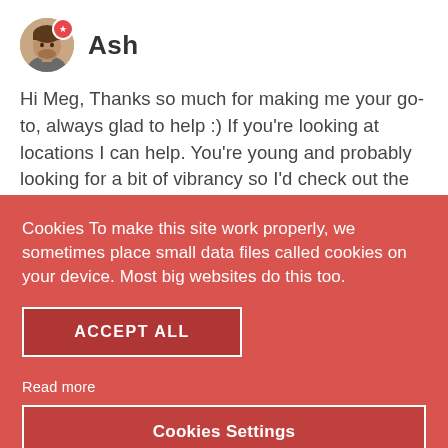[Figure (illustration): Circular avatar photo of a man named Ash with a red star badge in the top-right corner of the avatar]
Ash
Hi Meg, Thanks so much for making me your go-to, always glad to help :) If you're looking at locations I can help. You're young and probably looking for a bit of vibrancy so I'd check out the Gothic Quarter
Cookies To make this site work properly, we sometimes place small data files called cookies on your device. Most big websites do this too.
ACCEPT ALL
Read more
Cookies Settings